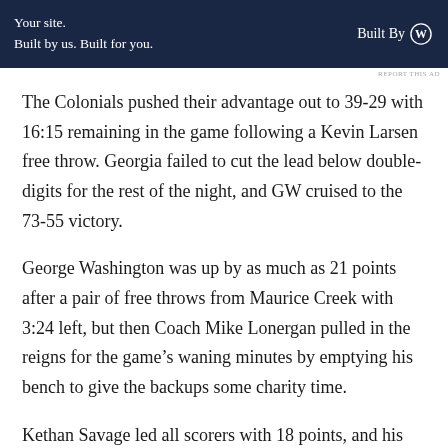[Figure (other): Advertisement banner: dark navy background. Left side reads 'Your site. Built by us. Built for you.' Right side reads 'Built By' with WordPress logo.]
The Colonials pushed their advantage out to 39-29 with 16:15 remaining in the game following a Kevin Larsen free throw. Georgia failed to cut the lead below double-digits for the rest of the night, and GW cruised to the 73-55 victory.
George Washington was up by as much as 21 points after a pair of free throws from Maurice Creek with 3:24 left, but then Coach Mike Lonergan pulled in the reigns for the game's waning minutes by emptying his bench to give the backups some charity time.
Kethan Savage led all scorers with 18 points, and his teammate Maurice Creek hit his 15...